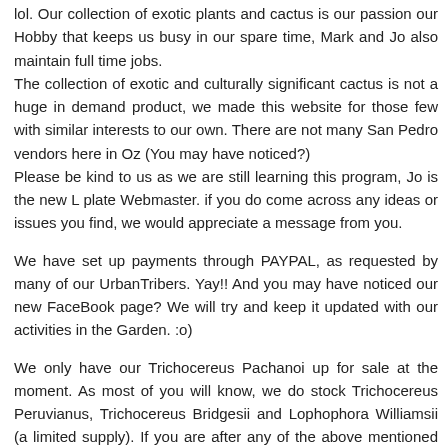lol. Our collection of exotic plants and cactus is our passion our Hobby that keeps us busy in our spare time, Mark and Jo also maintain full time jobs.
The collection of exotic and culturally significant cactus is not a huge in demand product, we made this website for those few with similar interests to our own. There are not many San Pedro vendors here in Oz (You may have noticed?)
Please be kind to us as we are still learning this program, Jo is the new L plate Webmaster. if you do come across any ideas or issues you find, we would appreciate a message from you.
We have set up payments through PAYPAL, as requested by many of our UrbanTribers. Yay!! And you may have noticed our new FaceBook page? We will try and keep it updated with our activities in the Garden. :o)
We only have our Trichocereus Pachanoi up for sale at the moment. As most of you will know, we do stock Trichocereus Peruvianus, Trichocereus Bridgesii and Lophophora Williamsii (a limited supply). If you are after any of the above mentioned feel free